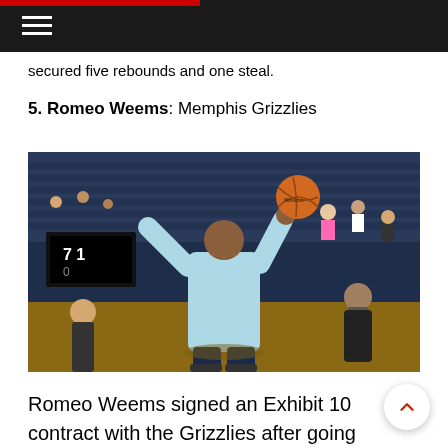Navigation header with hamburger menu
secured five rebounds and one steal.
5. Romeo Weems: Memphis Grizzlies
[Figure (photo): Basketball player in light blue Memphis Grizzlies uniform shooting a basketball during pre-game warmups in an arena with fans in the background]
Romeo Weems signed an Exhibit 10 contract with the Grizzlies after going